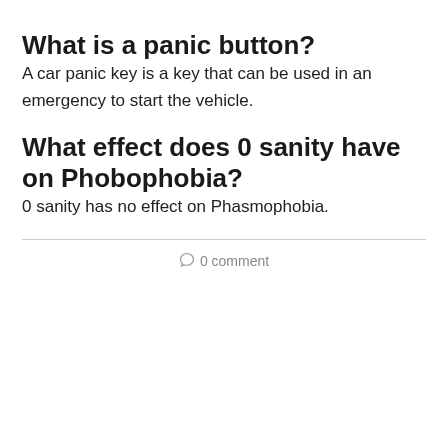What is a panic button?
A car panic key is a key that can be used in an emergency to start the vehicle.
What effect does 0 sanity have on Phobophobia?
0 sanity has no effect on Phasmophobia.
0 comment